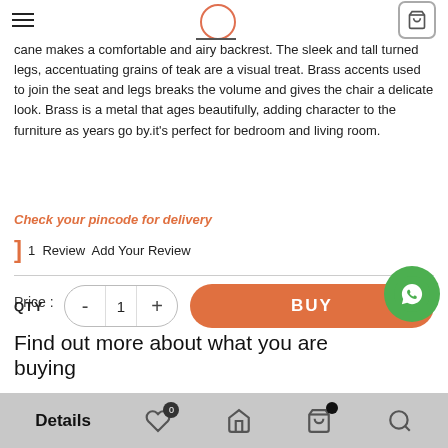Navigation header with hamburger menu, circle logo, and cart icon
cane makes a comfortable and airy backrest. The sleek and tall turned legs, accentuating grains of teak are a visual treat. Brass accents used to join the seat and legs breaks the volume and gives the chair a delicate look. Brass is a metal that ages beautifully, adding character to the furniture as years go by.it's perfect for bedroom and living room.
Check your pincode for delivery
1  Review  Add Your Review
Price :  ₹42,199
Find out more about what you are buying
QTY  -  1  +  BUY
Details  ♡ 0  Home  Cart  Search